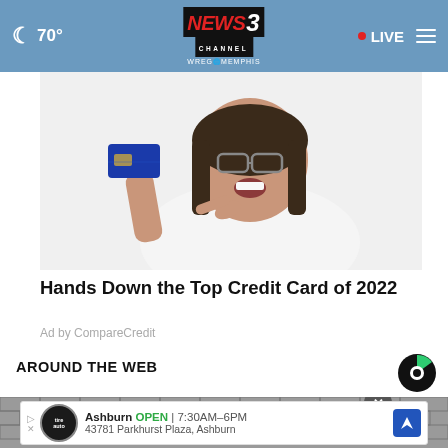70° NEWS3 CHANNEL WREG MEMPHIS • LIVE
[Figure (photo): Woman smiling and pointing at a blue credit card she is holding up, wearing glasses and a white shirt]
Hands Down the Top Credit Card of 2022
Ad by CompareCredit
AROUND THE WEB
[Figure (logo): Taboola logo - circular icon with green and black segments]
[Figure (photo): Partially visible background image showing a gray brick wall, with a Tire Auto advertisement banner overlay showing: Ashburn OPEN 7:30AM-6PM, 43781 Parkhurst Plaza, Ashburn]